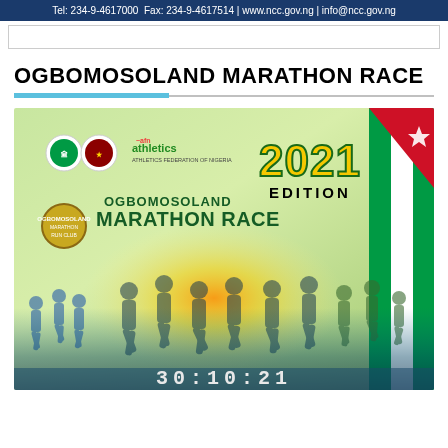Tel: 234-9-4617000  Fax: 234-9-4617514 | www.ncc.gov.ng | info@ncc.gov.ng
OGBOMOSOLAND MARATHON RACE
[Figure (illustration): Promotional poster for the Ogbomosoland Marathon Race 2021 Edition showing logos (Nigerian coat of arms, state crest, AFN Athletics Federation of Nigeria logo), text 'OGBOMOSOLAND MARATHON RACE 2021 EDITION', silhouettes of runners, an orange/gold burst in the center, a green flag with red stripe in the top right corner, and timestamp '30:10:21' at the bottom.]